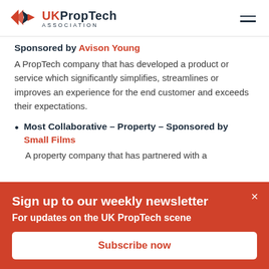UK PropTech Association
Sponsored by Avison Young
A PropTech company that has developed a product or service which significantly simplifies, streamlines or improves an experience for the end customer and exceeds their expectations.
Most Collaborative – Property – Sponsored by Small Films
A property company that has partnered with a
Sign up to our weekly newsletter
For updates on the UK PropTech scene
Subscribe now